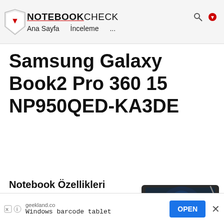NOTEBOOKCHECK — Ana Sayfa  İnceleme  ...
Samsung Galaxy Book2 Pro 360 15 NP950QED-KA3DE
Notebook Özellikleri
Samsung Galaxy Book2 Pro 360 15 NP950QED-KA3DE
[Figure (photo): Samsung Galaxy Book2 Pro 360 15 laptop in tent/stand mode with stylus pen, dark graphite color]
[Figure (other): Advertisement banner: geekland.co – Windows barcode tablet – OPEN button]